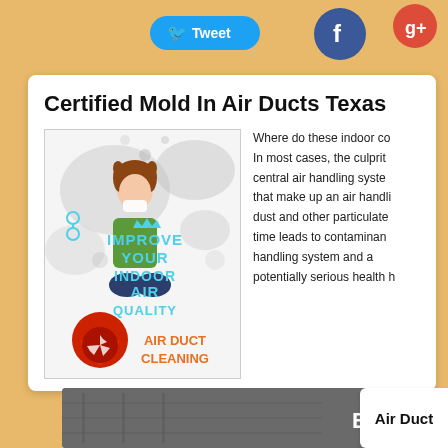[Figure (other): Twitter Tweet button, Facebook and Google+ social share buttons on tan/beige background]
Certified Mold In Air Ducts Texas
[Figure (illustration): Air duct cleaning promotional image showing a child holding a tissue to her nose, with text 'Improve Your Indoor Air Quality - Air Duct Cleaning' in blue and orange, with a flame/fan logo]
Where do these indoor co... In most cases, the culprit... central air handling syste... that make up an air handli... dust and other particulate... time leads to contaminan... handling system and a... potentially serious health h...
[Figure (photo): A dark grey dirty air duct photo labeled 'Before']
Air Duct